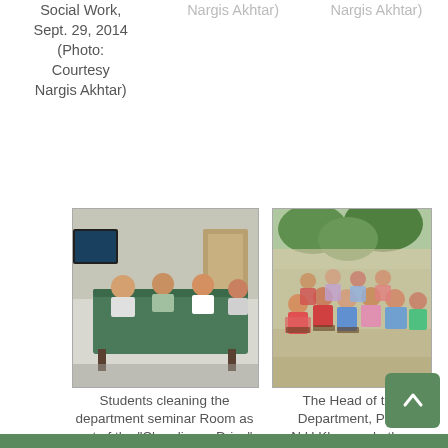Social Work, Sept. 29, 2014 (Photo: Courtesy Nargis Akhtar)
Nargis Akhtar)
Nargis Akhtar)
[Figure (photo): Students cleaning the department seminar room around a large green table, indoors]
Students cleaning the department seminar Room as part of the "Cleanliness Drive"; Sept. 22, 2014 (Photo:
[Figure (photo): The Head of the Department, Prof. N.U.Khan and other Professors of the Department watching the street, outdoors, group of women seated]
The Head of the Department, Prof. N.U.Khan and other Professors of the Department watching the street